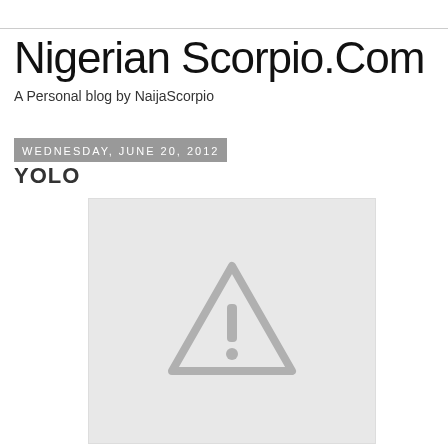Nigerian Scorpio.Com
A Personal blog by NaijaScorpio
Wednesday, June 20, 2012
YOLO
[Figure (illustration): Gray placeholder image with a warning triangle exclamation mark icon in the center]